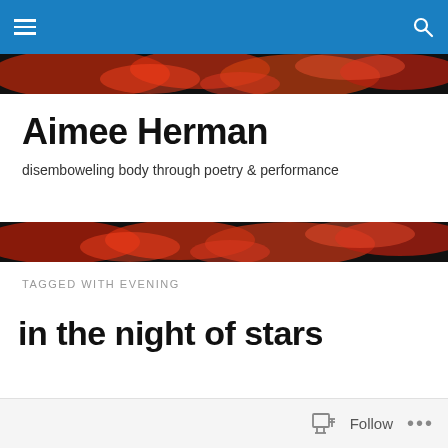Aimee Herman — site navigation bar with hamburger menu and search icon
[Figure (photo): Dark background with red/orange fiery organic texture — top hero image strip]
Aimee Herman
disemboweling body through poetry & performance
[Figure (photo): Dark background with red/orange fiery organic texture — bottom hero image strip]
TAGGED WITH EVENING
in the night of stars
Follow ...